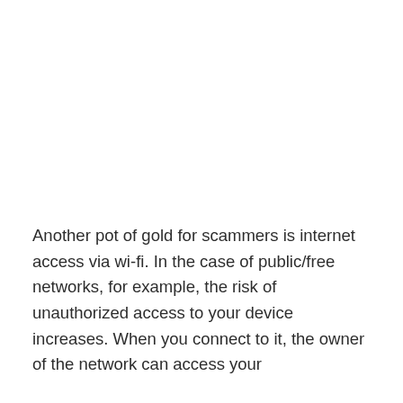Another pot of gold for scammers is internet access via wi-fi. In the case of public/free networks, for example, the risk of unauthorized access to your device increases. When you connect to it, the owner of the network can access your